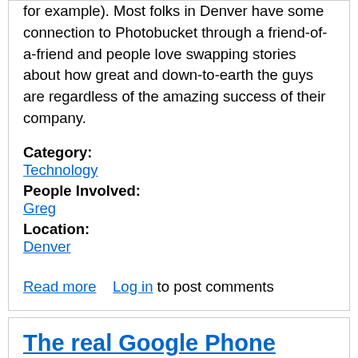for example). Most folks in Denver have some connection to Photobucket through a friend-of-a-friend and people love swapping stories about how great and down-to-earth the guys are regardless of the amazing success of their company.
Category:
Technology
People Involved:
Greg
Location:
Denver
Read more   Log in to post comments
The real Google Phone